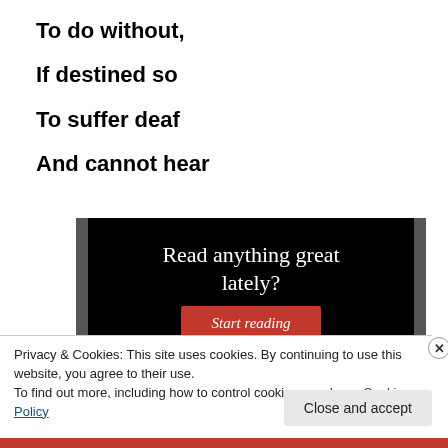To do without,
If destined so
To suffer deaf
And cannot hear
[Figure (other): Dark advertisement banner with text 'Read anything great lately?' and a red 'Start reading' button on black background with gray side bars.]
Privacy & Cookies: This site uses cookies. By continuing to use this website, you agree to their use.
To find out more, including how to control cookies, see here: Cookie Policy
Close and accept